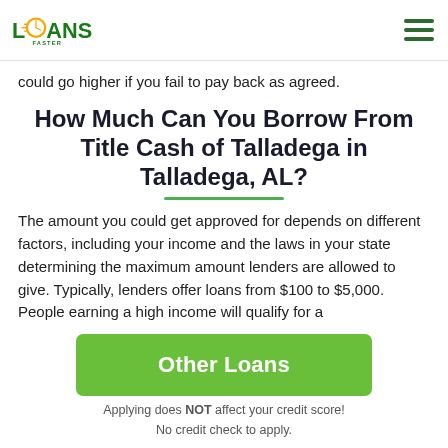LOANS FASTER [logo] [hamburger menu]
could go higher if you fail to pay back as agreed.
How Much Can You Borrow From Title Cash of Talladega in Talladega, AL?
The amount you could get approved for depends on different factors, including your income and the laws in your state determining the maximum amount lenders are allowed to give. Typically, lenders offer loans from $100 to $5,000. People earning a high income will qualify for a
Other Loans
Applying does NOT affect your credit score!
No credit check to apply.